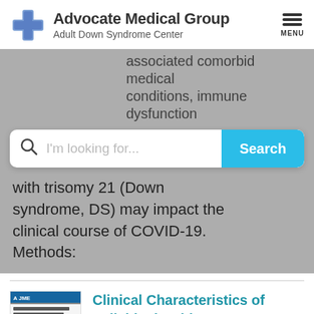Advocate Medical Group — Adult Down Syndrome Center
...associated comorbid medical conditions, immune dysfunction...
I'm looking for... Search
with trisomy 21 (Down syndrome, DS) may impact the clinical course of COVID-19. Methods:
[Figure (screenshot): Thumbnail of academic journal article titled 'Clinical Characteristics of Individuals with Down Syndrome Deceased with COVID-19 in Italy - A Case Series']
Clinical Characteristics of Individuals with Down Syndrome Deceased with COVID-19 in Italy - A Case Series